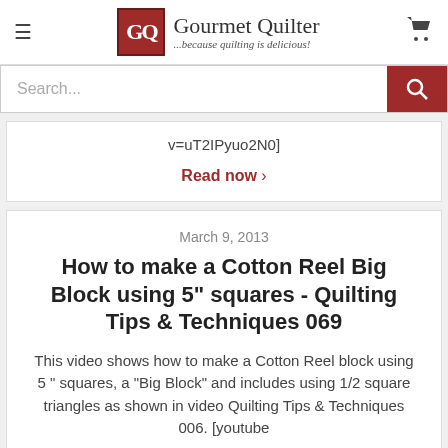Gourmet Quilter — ...because quilting is delicious!
v=uT2IPyuo2N0]
Read now >
March 9, 2013
How to make a Cotton Reel Big Block using 5" squares - Quilting Tips & Techniques 069
This video shows how to make a Cotton Reel block using 5 " squares, a "Big Block" and includes using 1/2 square triangles as shown in video Quilting Tips & Techniques 006. [youtube